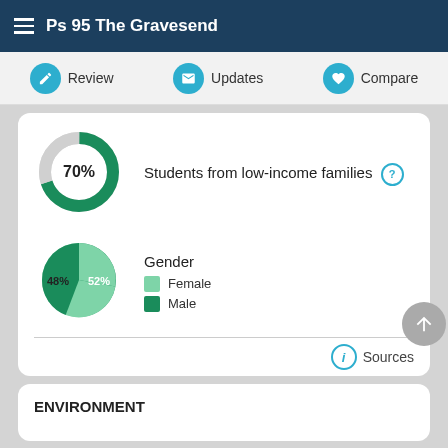Ps 95 The Gravesend
Review | Updates | Compare
[Figure (donut-chart): Students from low-income families]
Students from low-income families
[Figure (pie-chart): Gender]
Gender
Female
Male
Sources
ENVIRONMENT